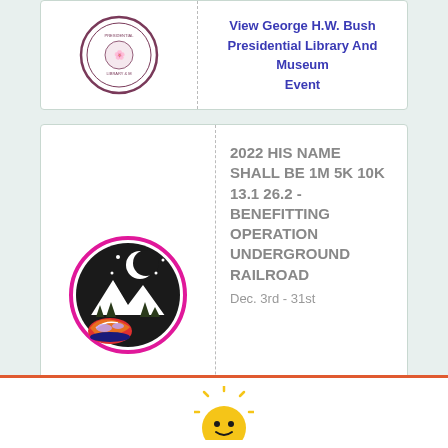[Figure (logo): George H.W. Bush Presidential Library and Museum circular seal logo]
View George H.W. Bush Presidential Library And Museum Event
[Figure (logo): Moon Joggers virtual running events logo - circular black logo with moon, mountains, and running shoe]
2022 HIS NAME SHALL BE 1M 5K 10K 13.1 26.2 - BENEFITTING OPERATION UNDERGROUND RAILROAD
Dec. 3rd - 31st
View Virtual Running Events Powered By Moon Joggers Event
Submit An Event
[Figure (logo): Partial sun icon at bottom of page]